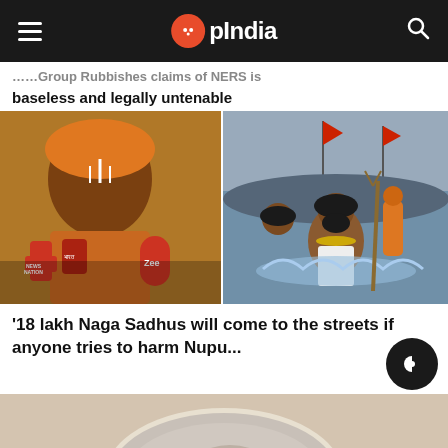OpIndia
...Group Rubbishes claims of NERS is baseless and legally untenable
[Figure (photo): Two-panel image: left panel shows a Hindu sadhu in orange attire being interviewed by news channels including News Nation and ZEE; right panel shows Naga Sadhus wading through water during a religious gathering with flags and crowds in background.]
'18 lakh Naga Sadhus will come to the streets if anyone tries to harm Nupu...
[Figure (photo): Partial bottom image showing top of a person's head with light-colored hair, partially visible.]